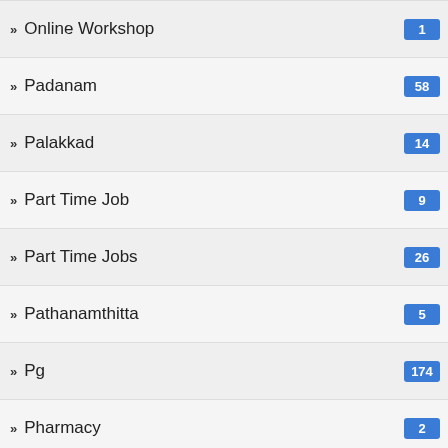Online Workshop
Padanam
Palakkad
Part Time Job
Part Time Jobs
Pathanamthitta
Pg
Pharmacy
PhD
Philippines
Physics
Physics Courses
Pj